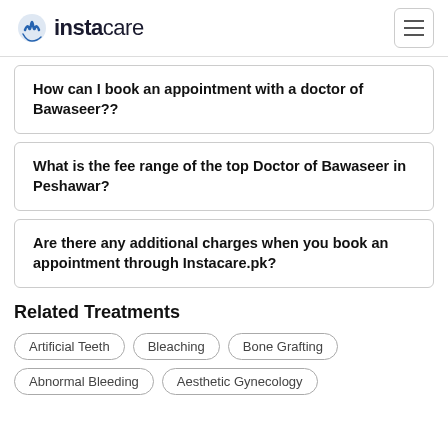instacare
How can I book an appointment with a doctor of Bawaseer??
What is the fee range of the top Doctor of Bawaseer in Peshawar?
Are there any additional charges when you book an appointment through Instacare.pk?
Related Treatments
Artificial Teeth
Bleaching
Bone Grafting
Abnormal Bleeding
Aesthetic Gynecology